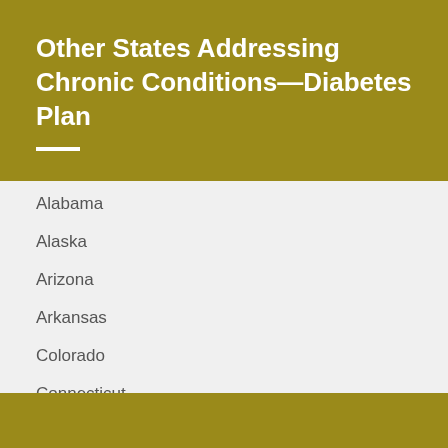Other States Addressing Chronic Conditions—Diabetes Plan
Alabama
Alaska
Arizona
Arkansas
Colorado
Connecticut